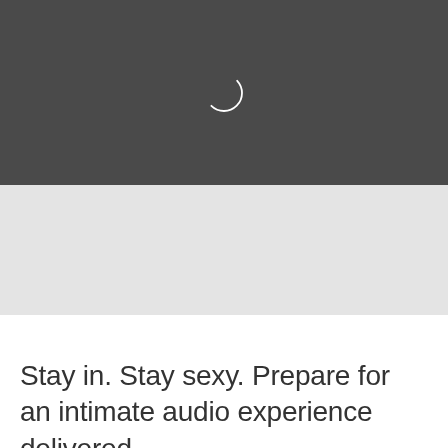[Figure (screenshot): Dark gray background section with a circular loading spinner icon (white circle outline) centered near the top. Below it is a lighter gray section, then a white section.]
Stay in. Stay sexy. Prepare for an intimate audio experience delivered